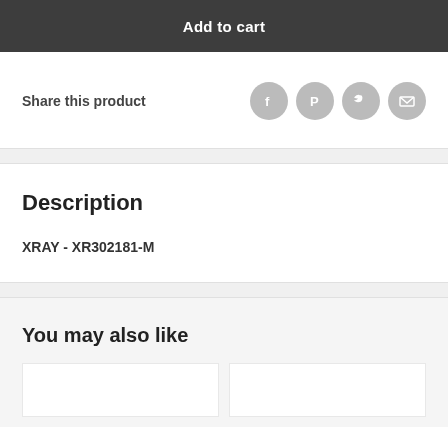Add to cart
Share this product
Description
XRAY - XR302181-M
You may also like